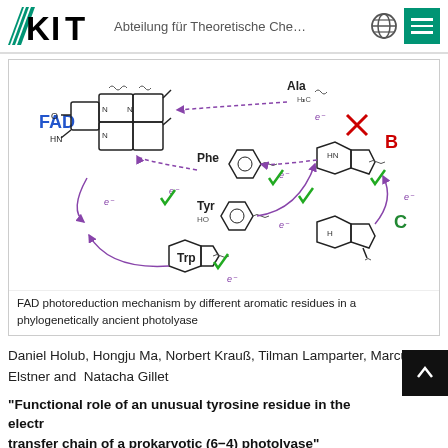KIT — Abteilung für Theoretische Che…
[Figure (illustration): FAD photoreduction mechanism diagram showing electron transfer from aromatic residues (Phe, Tyr, Trp) and indole groups (B, C) to FAD. Purple dashed arrows indicate electron transfer paths, green checkmarks show allowed pathways, red X marks a blocked pathway (Ala).]
FAD photoreduction mechanism by different aromatic residues in a phylogenetically ancient photolyase
Daniel Holub, Hongju Ma, Norbert Krauß, Tilman Lamparter, Marcus Elstner and Natacha Gillet
"Functional role of an unusual tyrosine residue in the electron transfer chain of a prokaryotic (6−4) photolyase"
Chemical Science, Accepted on 20 Dec 2017 and first published…